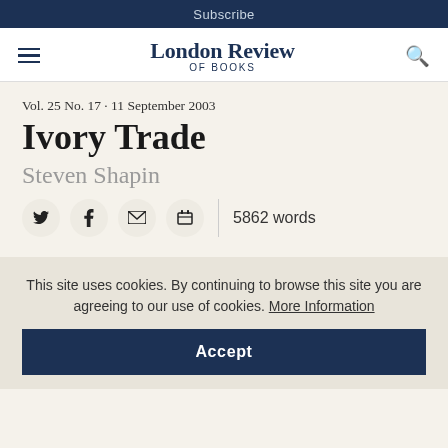Subscribe
London Review OF BOOKS
Vol. 25 No. 17 · 11 September 2003
Ivory Trade
Steven Shapin
5862 words
This site uses cookies. By continuing to browse this site you are agreeing to our use of cookies. More Information
Accept